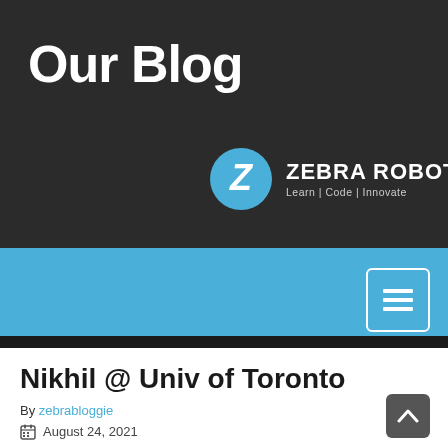Our Blog
[Figure (logo): Zebra Robotics logo: teal circle with white Z letter, followed by 'ZEBRA ROBOTICS' in white bold text and tagline 'Learn | Code | Innovate' in grey]
[Figure (other): Light blue navigation bar with hamburger menu icon button in top-right corner]
Nikhil @ Univ of Toronto
By zebrabloggie
August 24, 2021